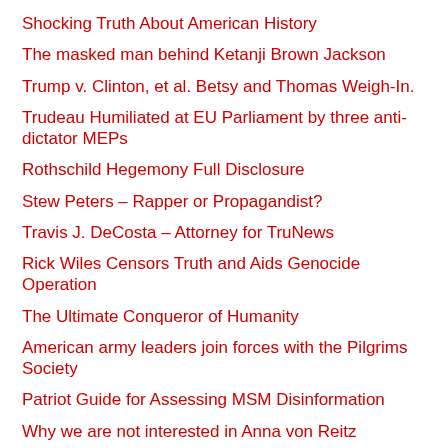Shocking Truth About American History
The masked man behind Ketanji Brown Jackson
Trump v. Clinton, et al. Betsy and Thomas Weigh-In.
Trudeau Humiliated at EU Parliament by three anti-dictator MEPs
Rothschild Hegemony Full Disclosure
Stew Peters – Rapper or Propagandist?
Travis J. DeCosta – Attorney for TruNews
Rick Wiles Censors Truth and Aids Genocide Operation
The Ultimate Conqueror of Humanity
American army leaders join forces with the Pilgrims Society
Patriot Guide for Assessing MSM Disinformation
Why we are not interested in Anna von Reitz
The first 40 years of the World Economic Forum
Ukraine and WEF Update: Reset or Reject
Betsy and Thomas Discuss Ukraine, Trudeau, and Bix Weir
18 Things You Don't Know About Polio